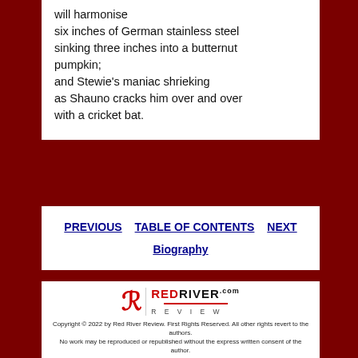will harmonise
six inches of German stainless steel
sinking three inches into a butternut
pumpkin;
and Stewie's maniac shrieking
as Shauno cracks him over and over
with a cricket bat.
PREVIOUS   TABLE OF CONTENTS   NEXT
Biography
[Figure (logo): Red River Review logo with stylized R in red and REDRIVER.com REVIEW text]
Copyright © 2022 by Red River Review. First Rights Reserved. All other rights revert to the authors.
No work may be reproduced or republished without the express written consent of the author.